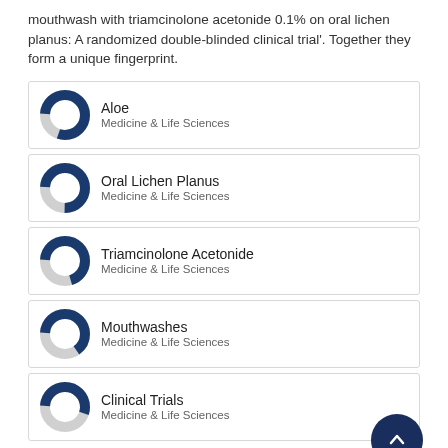mouthwash with triamcinolone acetonide 0.1% on oral lichen planus: A randomized double-blinded clinical trial'. Together they form a unique fingerprint.
[Figure (donut-chart): Donut chart for Aloe, Medicine & Life Sciences]
[Figure (donut-chart): Donut chart for Oral Lichen Planus, Medicine & Life Sciences]
[Figure (donut-chart): Donut chart for Triamcinolone Acetonide, Medicine & Life Sciences]
[Figure (donut-chart): Donut chart for Mouthwashes, Medicine & Life Sciences]
[Figure (donut-chart): Donut chart for Clinical Trials, Medicine & Life Sciences]
[Figure (donut-chart): Donut chart for Visual Analog Scale, Medicine & Life Sciences]